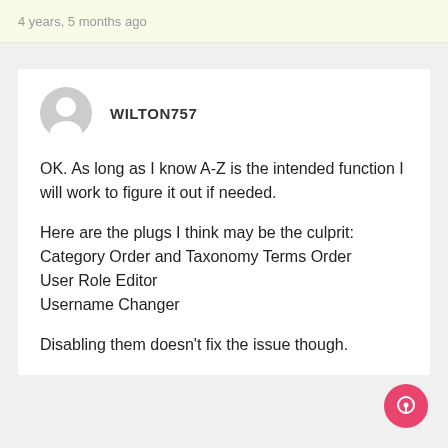4 years, 5 months ago
WILTON757
OK. As long as I know A-Z is the intended function I will work to figure it out if needed.

Here are the plugs I think may be the culprit:
Category Order and Taxonomy Terms Order
User Role Editor
Username Changer

Disabling them doesn't fix the issue though.